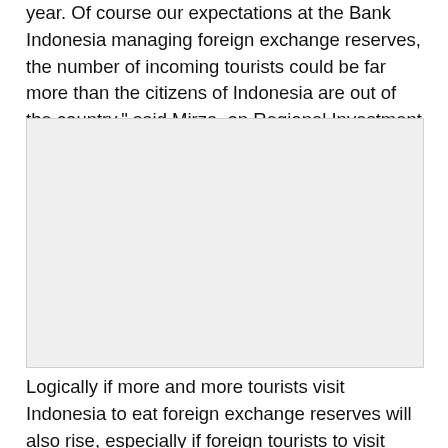year. Of course our expectations at the Bank Indonesia managing foreign exchange reserves, the number of incoming tourists could be far more than the citizens of Indonesia are out of the country," said Mirza, on Regional Investment Forum, at the Grand Hotel Inna field.
[Figure (photo): A large light gray placeholder image block]
Logically if more and more tourists visit Indonesia to eat foreign exchange reserves will also rise, especially if foreign tourists to visit Indonesia was more of a vacation to